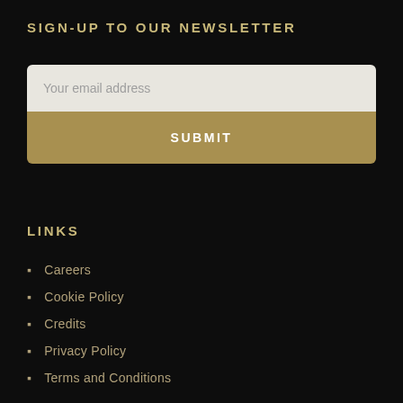SIGN-UP TO OUR NEWSLETTER
Your email address
SUBMIT
LINKS
Careers
Cookie Policy
Credits
Privacy Policy
Terms and Conditions